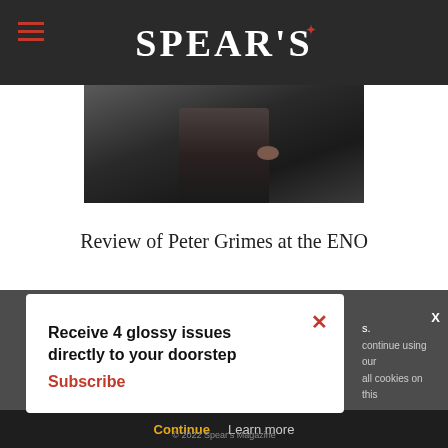SPEAR'S
[Figure (photo): Dark moody photo of a figure in dark clothing, hands gripping fabric, sitting in a dimly lit scene]
Review of Peter Grimes at the ENO
Receive 4 glossy issues directly to your doorstep
Subscribe
continue using our
all cookies on this
Continue    Learn more
© 2022 Spear's Magazine